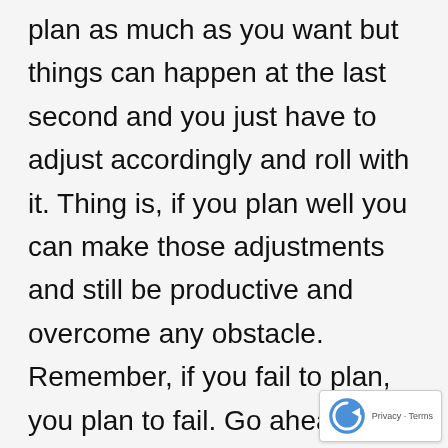really was just another reminder that you can plan as much as you want but things can happen at the last second and you just have to adjust accordingly and roll with it. Thing is, if you plan well you can make those adjustments and still be productive and overcome any obstacle. Remember, if you fail to plan, you plan to fail. Go ahead and save that little nugget for later. We had a great compact group this morning meaning we all stuck together and worked together as a unit. Bottlecap reminded me that instruction is sometimes hard at 5:15 in the morning… Easy Button was Mr. consistent as usual.